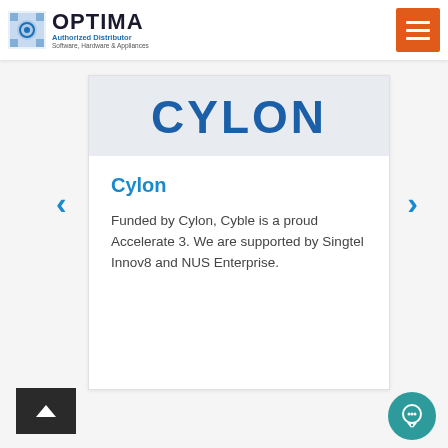OPTIMA Authorized Distributor Software, Hardware & Appliances
[Figure (logo): CYLON brand logo displayed in large bold blue text on a light grey background banner]
Cylon
Funded by Cylon, Cyble is a proud Accelerate 3. We are supported by Singtel Innov8 and NUS Enterprise.